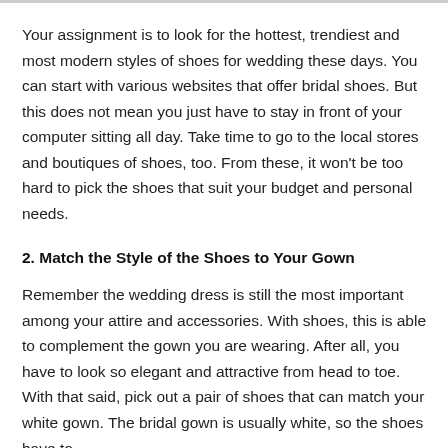Your assignment is to look for the hottest, trendiest and most modern styles of shoes for wedding these days. You can start with various websites that offer bridal shoes. But this does not mean you just have to stay in front of your computer sitting all day. Take time to go to the local stores and boutiques of shoes, too. From these, it won't be too hard to pick the shoes that suit your budget and personal needs.
2. Match the Style of the Shoes to Your Gown
Remember the wedding dress is still the most important among your attire and accessories. With shoes, this is able to complement the gown you are wearing. After all, you have to look so elegant and attractive from head to toe. With that said, pick out a pair of shoes that can match your white gown. The bridal gown is usually white, so the shoes have to